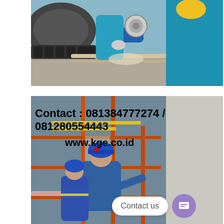[Figure (photo): Workers in blue uniforms and helmets using power tools on industrial machinery components, grinding or cutting metal parts.]
[Figure (photo): Workers in safety helmets and uniforms working on industrial scaffolding and pipework at an industrial facility. Overlaid text shows contact information: Contact : 081384777274 / 081280554443 and www.kge.co.id. A 'Contact us' chat button appears in the bottom right.]
Contact : 081384777274 / 081280554443
www.kge.co.id
Contact us